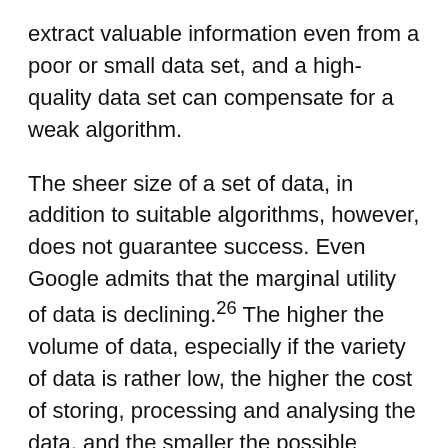extract valuable information even from a poor or small data set, and a high-quality data set can compensate for a weak algorithm.
The sheer size of a set of data, in addition to suitable algorithms, however, does not guarantee success. Even Google admits that the marginal utility of data is declining.²⁶ The higher the volume of data, especially if the variety of data is rather low, the higher the cost of storing, processing and analysing the data, and the smaller the possible improvement.
Nevertheless, algorithms can establish market power if they lead to a competitive advantage in the production or service process. From this